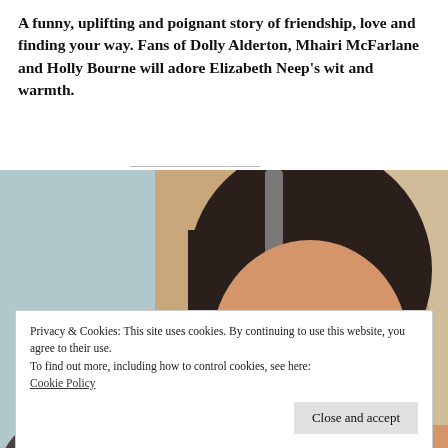A funny, uplifting and poignant story of friendship, love and finding your way. Fans of Dolly Alderton, Mhairi McFarlane and Holly Bourne will adore Elizabeth Neep's wit and warmth.
[Figure (photo): Close-up photograph of a young woman with dark brown hair with grey streaks, showing the top half of her face including her eyebrows and eyes. Background includes blurred light blue and warm beige tones.]
Privacy & Cookies: This site uses cookies. By continuing to use this website, you agree to their use.
To find out more, including how to control cookies, see here:
Cookie Policy